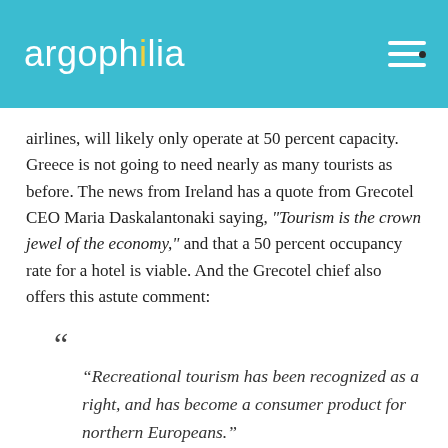argophilia
airlines, will likely only operate at 50 percent capacity. Greece is not going to need nearly as many tourists as before. The news from Ireland has a quote from Grecotel CEO Maria Daskalantonaki saying, "Tourism is the crown jewel of the economy," and that a 50 percent occupancy rate for a hotel is viable. And the Grecotel chief also offers this astute comment:
“Recreational tourism has been recognized as a right, and has become a consumer product for northern Europeans.”
And by rights, it’s middle-income Germans that Pine erroneously says “matter more” than the nearly 2 million travelers to Greece from Bulgaria. Or, in fact